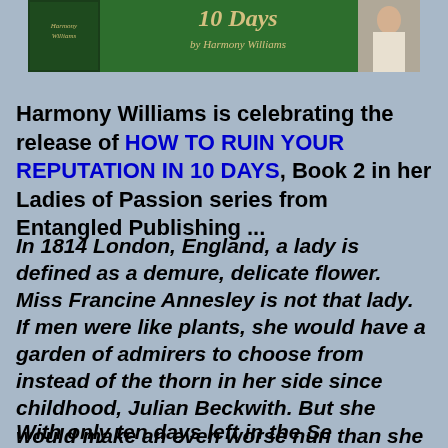[Figure (illustration): Book banner/advertisement for 'How to Ruin Your Reputation in 10 Days' by Harmony Williams. Green background with book cover on left, title text in center, and figure on right.]
Harmony Williams is celebrating the release of HOW TO RUIN YOUR REPUTATION IN 10 DAYS, Book 2 in her Ladies of Passion series from Entangled Publishing ...
In 1814 London, England, a lady is defined as a demure, delicate flower. Miss Francine Annesley is not that lady. If men were like plants, she would have a garden of admirers to choose from instead of the thorn in her side since childhood, Julian Beckwith. But she would make an even worse nun than she does a lady, which will be her fate if she can't dig up a husband before the Season ends. However, Julian is not an option.
With only ten days left in the Se...